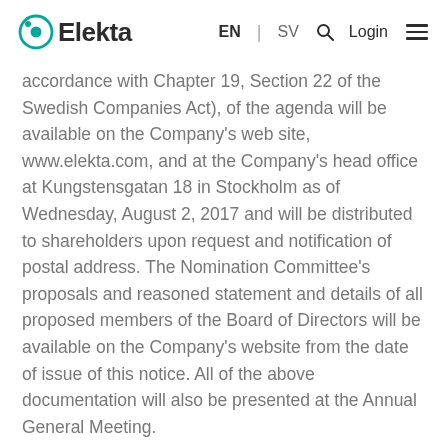Elekta | EN | SV | Login
accordance with Chapter 19, Section 22 of the Swedish Companies Act), of the agenda will be available on the Company's web site, www.elekta.com, and at the Company's head office at Kungstensgatan 18 in Stockholm as of Wednesday, August 2, 2017 and will be distributed to shareholders upon request and notification of postal address. The Nomination Committee's proposals and reasoned statement and details of all proposed members of the Board of Directors will be available on the Company's website from the date of issue of this notice. All of the above documentation will also be presented at the Annual General Meeting.